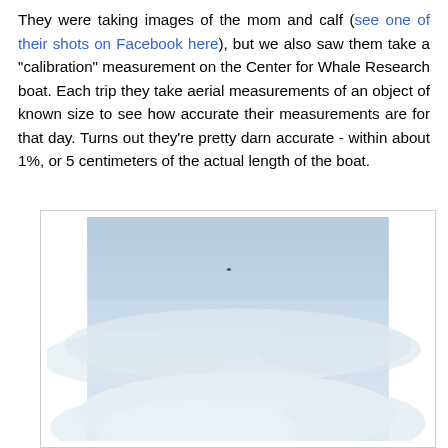They were taking images of the mom and calf (see one of their shots on Facebook here), but we also saw them take a "calibration" measurement on the Center for Whale Research boat. Each trip they take aerial measurements of an object of known size to see how accurate their measurements are for that day. Turns out they're pretty darn accurate - within about 1%, or 5 centimeters of the actual length of the boat.
[Figure (photo): Aerial photograph showing a pale blue sky with light clouds and a small dark object (likely a drone or aircraft) visible near the center-top of the image. The lower portion shows white cloud formations against a muted blue-grey sky.]